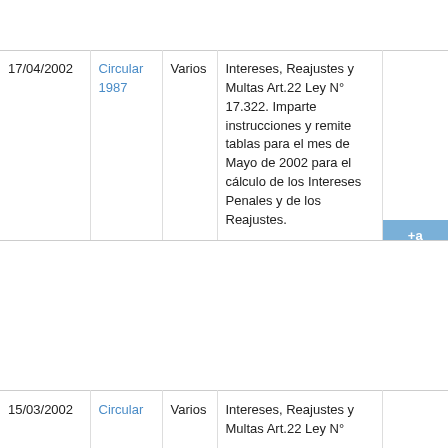| Fecha | Tipo | Destinatario | Descripción |  |
| --- | --- | --- | --- | --- |
| 17/04/2002 | Circular 1987 | Varios | Intereses, Reajustes y Multas Art.22 Ley N° 17.322. Imparte instrucciones y remite tablas para el mes de Mayo de 2002 para el cálculo de los Intereses Penales y de los Reajustes. |  |
| 15/03/2002 | Circular ... | Varios | Intereses, Reajustes y Multas Art.22 Ley N° ... |  |